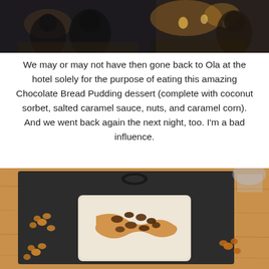[Figure (photo): Dark restaurant interior scene with people dining, warm ambient lighting with candles visible in background]
We may or may not have then gone back to Ola at the hotel solely for the purpose of eating this amazing Chocolate Bread Pudding dessert (complete with coconut sorbet, salted caramel sauce, nuts, and caramel corn). And we went back again the next night, too. I'm a bad influence.
[Figure (photo): Overhead shot of a Chocolate Bread Pudding dessert in a white rectangular dish on a dark slate board, topped with nuts and caramel sauce, surrounded by caramel corn pieces on a wooden table]